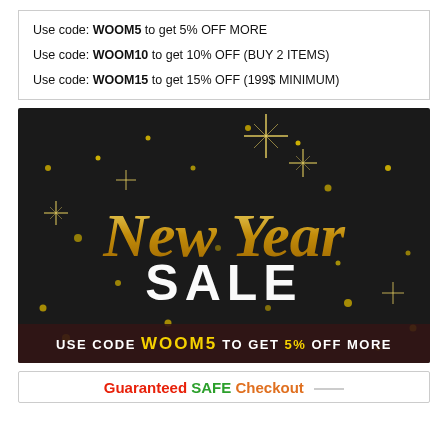Use code: WOOM5 to get 5% OFF MORE
Use code: WOOM10 to get 10% OFF (BUY 2 ITEMS)
Use code: WOOM15 to get 15% OFF (199$ MINIMUM)
[Figure (illustration): New Year Sale promotional banner with dark/black background, gold sparkles and glitter stars, gold script text 'New Year' and bold white text 'SALE', with a dark bottom bar reading 'USE CODE WOOM5 TO GET 5% OFF MORE' where WOOM5 and 5% are in yellow.]
Guaranteed SAFE Checkout